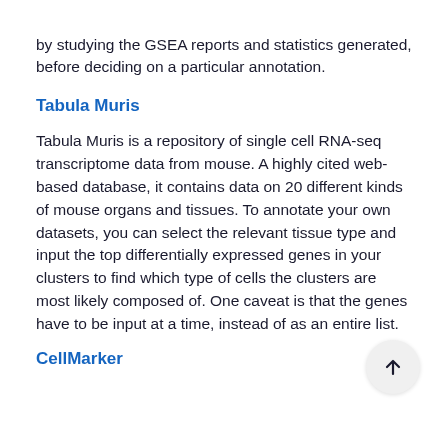by studying the GSEA reports and statistics generated, before deciding on a particular annotation.
Tabula Muris
Tabula Muris is a repository of single cell RNA-seq transcriptome data from mouse. A highly cited web-based database, it contains data on 20 different kinds of mouse organs and tissues. To annotate your own datasets, you can select the relevant tissue type and input the top differentially expressed genes in your clusters to find which type of cells the clusters are most likely composed of. One caveat is that the genes have to be input at a time, instead of as an entire list.
CellMarker